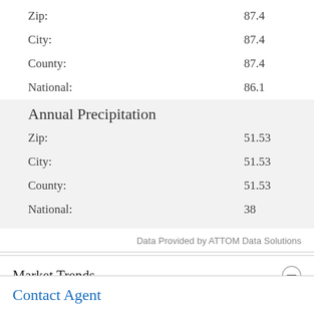|  |  |
| --- | --- |
| Zip: | 87.4 |
| City: | 87.4 |
| County: | 87.4 |
| National: | 86.1 |
Annual Precipitation
|  |  |
| --- | --- |
| Zip: | 51.53 |
| City: | 51.53 |
| County: | 51.53 |
| National: | 38 |
Data Provided by ATTOM Data Solutions
Market Trends
Active Market Trends
Median list price
Contact Agent